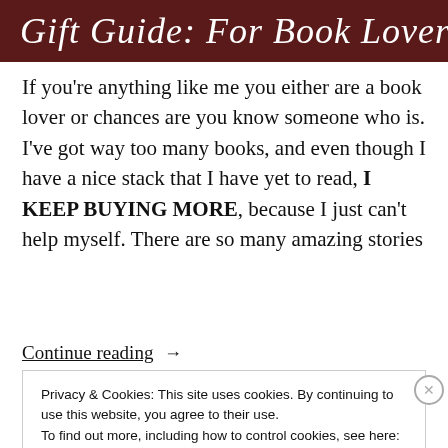[Figure (illustration): Dark maroon/brown banner header with cursive italic text reading 'Gift Guide: For Book Lovers.']
If you're anything like me you either are a book lover or chances are you know someone who is. I've got way too many books, and even though I have a nice stack that I have yet to read, I KEEP BUYING MORE, because I just can't help myself. There are so many amazing stories
Continue reading  →
Privacy & Cookies: This site uses cookies. By continuing to use this website, you agree to their use.
To find out more, including how to control cookies, see here: Cookie Policy
Close and accept